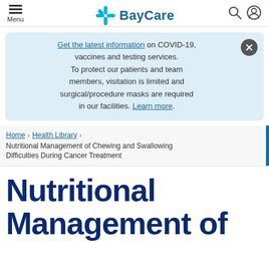Menu | BayCare
Get the latest information on COVID-19, vaccines and testing services. To protect our patients and team members, visitation is limited and surgical/procedure masks are required in our facilities. Learn more.
Home > Health Library > Nutritional Management of Chewing and Swallowing Difficulties During Cancer Treatment
Nutritional Management of